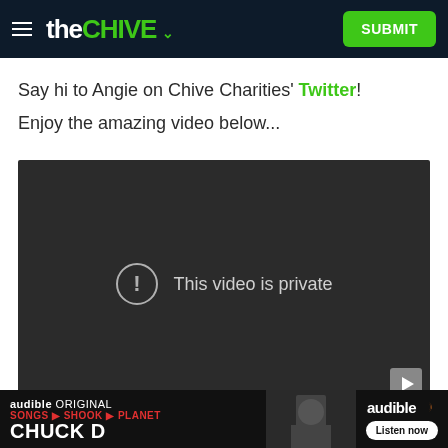the CHIVE — SUBMIT
Say hi to Angie on Chive Charities' Twitter!
Enjoy the amazing video below...
[Figure (screenshot): Embedded video player showing 'This video is private' error message with a circular exclamation icon on a dark background]
[Figure (other): Audible advertisement banner: 'audible ORIGINAL SONGS SHOOK PLANET CHUCK D' with 'Listen now' button]